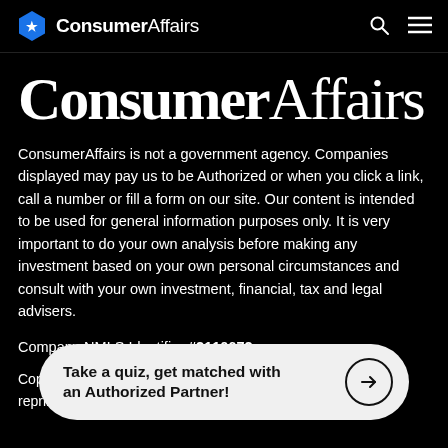ConsumerAffairs
ConsumerAffairs
ConsumerAffairs is not a government agency. Companies displayed may pay us to be Authorized or when you click a link, call a number or fill a form on our site. Our content is intended to be used for general information purposes only. It is very important to do your own analysis before making any investment based on your own personal circumstances and consult with your own investment, financial, tax and legal advisers.
Company NMLS Identifier #2110672
Copyr… Reser… …ished, reprinted, rewritten or recirculated without written
Take a quiz, get matched with an Authorized Partner!